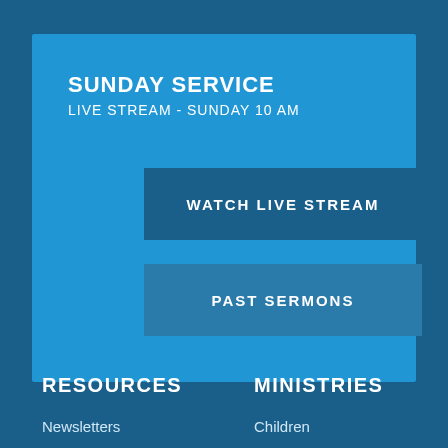SUNDAY SERVICE
LIVE STREAM - SUNDAY 10 AM
WATCH LIVE STREAM
PAST SERMONS
RESOURCES
MINISTRIES
Newsletters
Children